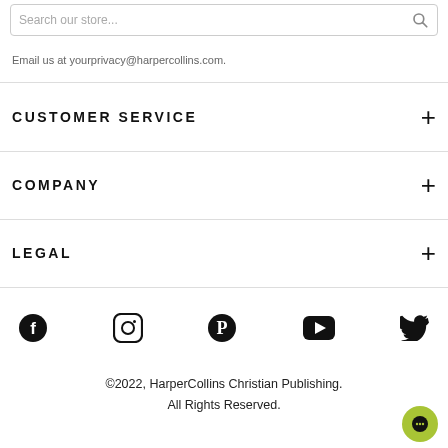Search our store...
Email us at yourprivacy@harpercollins.com.
CUSTOMER SERVICE
COMPANY
LEGAL
[Figure (other): Social media icons row: Facebook, Instagram, Pinterest, YouTube, Twitter]
©2022, HarperCollins Christian Publishing. All Rights Reserved.